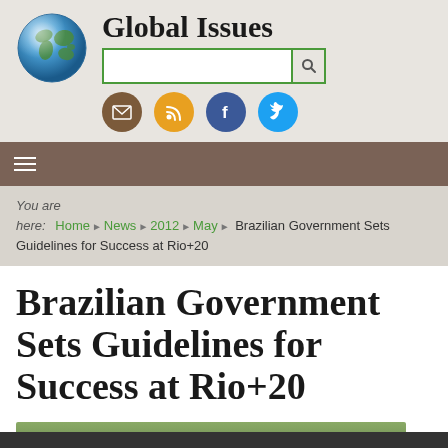[Figure (logo): Global Issues website header with globe logo, site title 'Global Issues', search bar, and social media icons (email, RSS, Facebook, Twitter)]
You are here: Home ▶ News ▶ 2012 ▶ May ▶ Brazilian Government Sets Guidelines for Success at Rio+20
Brazilian Government Sets Guidelines for Success at Rio+20
[Figure (photo): Partial photo visible at bottom of page, appears to be an outdoor scene]